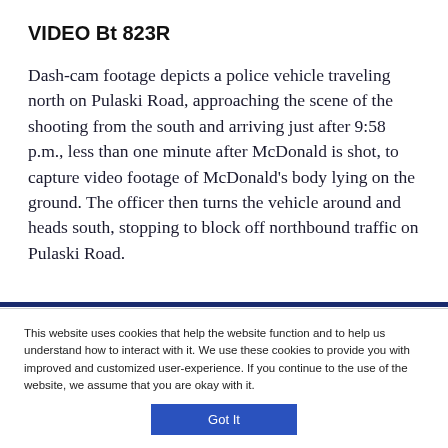VIDEO Bt 823R
Dash-cam footage depicts a police vehicle traveling north on Pulaski Road, approaching the scene of the shooting from the south and arriving just after 9:58 p.m., less than one minute after McDonald is shot, to capture video footage of McDonald's body lying on the ground. The officer then turns the vehicle around and heads south, stopping to block off northbound traffic on Pulaski Road.
This website uses cookies that help the website function and to help us understand how to interact with it. We use these cookies to provide you with improved and customized user-experience. If you continue to the use of the website, we assume that you are okay with it.